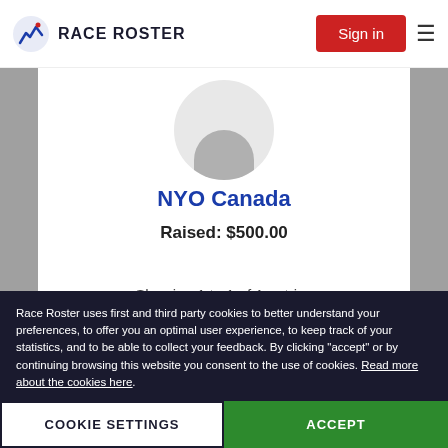RACE ROSTER | Sign in
[Figure (illustration): Circular avatar placeholder with grey silhouette body shape]
NYO Canada
Raised: $500.00
Showing 1 to 1 of 1 entries
Recent donors
Race Roster uses first and third party cookies to better understand your preferences, to offer you an optimal user experience, to keep track of your statistics, and to be able to collect your feedback. By clicking "accept" or by continuing browsing this website you consent to the use of cookies. Read more about the cookies here.